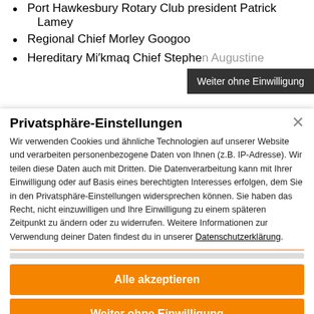Port Hawkesbury Rotary Club president Patrick Lamey
Regional Chief Morley Googoo
Hereditary Mi'kmaq Chief Stephen Augustine (partially obscured)
Weiter ohne Einwilligung
Privatsphäre-Einstellungen
Wir verwenden Cookies und ähnliche Technologien auf unserer Website und verarbeiten personenbezogene Daten von Ihnen (z.B. IP-Adresse). Wir teilen diese Daten auch mit Dritten. Die Datenverarbeitung kann mit Ihrer Einwilligung oder auf Basis eines berechtigten Interesses erfolgen, dem Sie in den Privatsphäre-Einstellungen widersprechen können. Sie haben das Recht, nicht einzuwilligen und Ihre Einwilligung zu einem späteren Zeitpunkt zu ändern oder zu widerrufen. Weitere Informationen zur Verwendung deiner Daten findest du in unserer Datenschutzerklärung.
Alle akzeptieren
Weiter ohne Einwilligung
individuelle Privatsphäre-Einstellungen
Datenschutzerklärung • Impressum